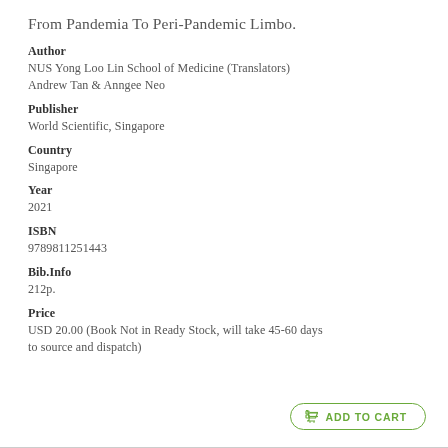From Pandemia To Peri-Pandemic Limbo.
Author
NUS Yong Loo Lin School of Medicine (Translators)
Andrew Tan & Anngee Neo
Publisher
World Scientific, Singapore
Country
Singapore
Year
2021
ISBN
9789811251443
Bib.Info
212p.
Price
USD 20.00 (Book Not in Ready Stock, will take 45-60 days to source and dispatch)